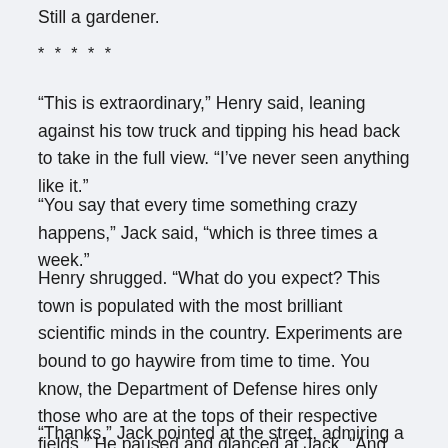Still a gardener.
* * * * *
“This is extraordinary,” Henry said, leaning against his tow truck and tipping his head back to take in the full view. “I’ve never seen anything like it.”
“You say that every time something crazy happens,” Jack said, “which is three times a week.”
Henry shrugged. “What do you expect? This town is populated with the most brilliant scientific minds in the country. Experiments are bound to go haywire from time to time. You know, the Department of Defense hires only those who are at the tops of their respective fields.” He paused and glanced at Jack. “And, of course, you.”
“Thanks,” Jack pointed at the street, admiring a...